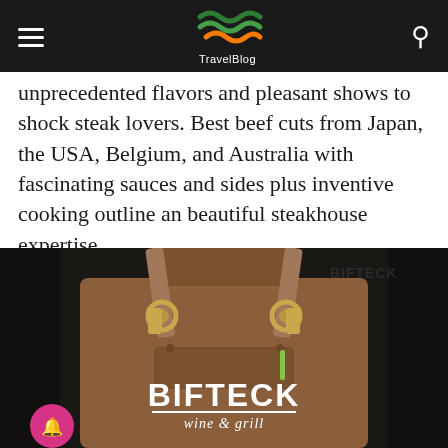TravelBlog
unprecedented flavors and pleasant shows to shock steak lovers. Best beef cuts from Japan, the USA, Belgium, and Australia with fascinating sauces and sides plus inventive cooking outline an beautiful steakhouse expertise.
[Figure (photo): A person wearing a brown leather apron with 'BIFTECK wine & grill' text and logo on it, with leather straps and brass buckle hardware. A pink bell notification button is visible in the lower left corner.]